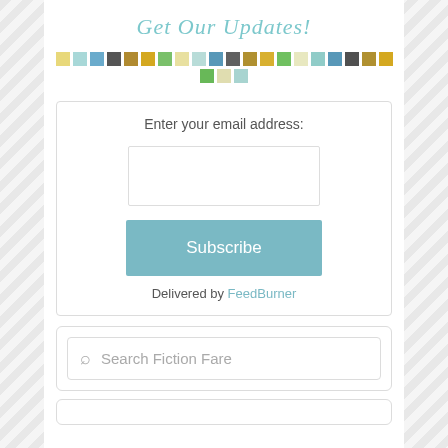Get Our Updates!
[Figure (illustration): A horizontal strip of small colored squares in yellow, teal, blue, dark gray, dark yellow, gold, green, light yellow, light teal, blue, dark gray, gold, yellow, green, cream, teal, blue, dark gray, gold, yellow, green, cream, teal pattern]
Enter your email address:
Subscribe
Delivered by FeedBurner
Search Fiction Fare